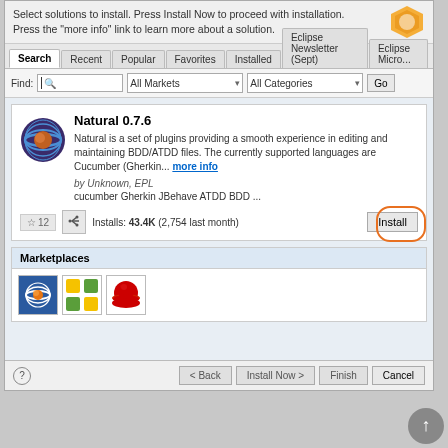Select solutions to install. Press Install Now to proceed with installation. Press the "more info" link to learn more about a solution.
[Figure (screenshot): Eclipse Marketplace dialog showing tabs: Search, Recent, Popular, Favorites, Installed, Eclipse Newsletter (Sept), Eclipse Micro... with a search bar containing Find field, All Markets dropdown, All Categories dropdown, and Go button.]
Natural 0.7.6
Natural is a set of plugins providing a smooth experience in editing and maintaining BDD/ATDD files. The currently supported languages are Cucumber (Gherkin... more info
by Unknown, EPL
cucumber Gherkin JBehave ATDD BDD ...
Installs: 43.4K (2,754 last month)
Marketplaces
[Figure (logo): Three marketplace logos: Eclipse, Yoxos (colored pieces), and Red Hat logos]